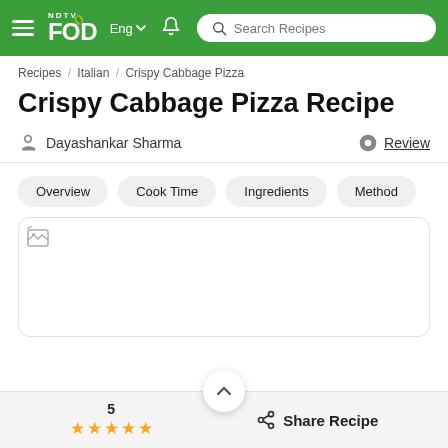NDTV Food — Eng | Search Recipes
Recipes / Italian / Crispy Cabbage Pizza
Crispy Cabbage Pizza Recipe
Dayashankar Sharma   Review
Overview  Cook Time  Ingredients  Method
[Figure (photo): Broken/placeholder image for Crispy Cabbage Pizza recipe photo]
5 ★★★★★  Share Recipe